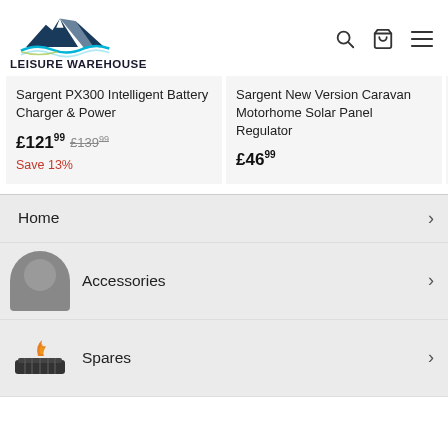[Figure (logo): Leisure Warehouse logo with mountain and water wave design in teal, dark blue, and yellow-green]
Sargent PX300 Intelligent Battery Charger & Power
£121.99  £139.99  Save 13%
Sargent New Version Caravan Motorhome Solar Panel Regulator
£46.99
Berke... Doub... £39.99
Home
Accessories
Spares